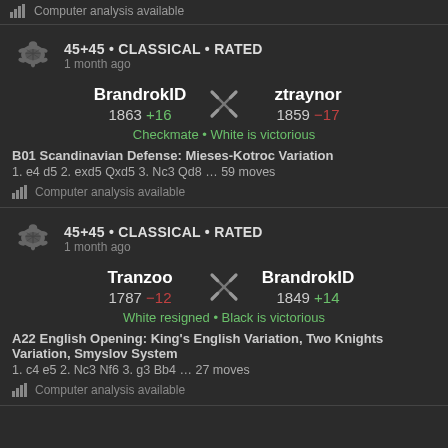Computer analysis available
45+45 • CLASSICAL • RATED
1 month ago
BrandrokID 1863 +16   ztraynor 1859 -17
Checkmate • White is victorious
B01 Scandinavian Defense: Mieses-Kotroc Variation
1. e4 d5 2. exd5 Qxd5 3. Nc3 Qd8 … 59 moves
Computer analysis available
45+45 • CLASSICAL • RATED
1 month ago
Tranzoo 1787 -12   BrandrokID 1849 +14
White resigned • Black is victorious
A22 English Opening: King's English Variation, Two Knights Variation, Smyslov System
1. c4 e5 2. Nc3 Nf6 3. g3 Bb4 … 27 moves
Computer analysis available